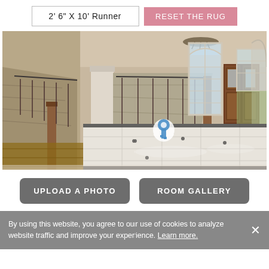2' 6" X 10' Runner
RESET THE RUG
[Figure (photo): Grand foyer interior with marble tile floor, double-staircase with wrought iron railings, tall arched windows, wooden front doors, and a chandelier. A rug placement indicator icon is visible on the floor.]
UPLOAD A PHOTO
ROOM GALLERY
By using this website, you agree to our use of cookies to analyze website traffic and improve your experience. Learn more.